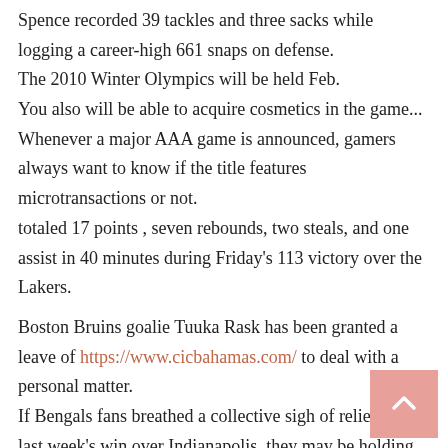Spence recorded 39 tackles and three sacks while logging a career-high 661 snaps on defense.
The 2010 Winter Olympics will be held Feb.
You also will be able to acquire cosmetics in the game...
Whenever a major AAA game is announced, gamers always want to know if the title features microtransactions or not.
totaled 17 points , seven rebounds, two steals, and one assist in 40 minutes during Friday's 113 victory over the Lakers.
Boston Bruins goalie Tuuka Rask has been granted a leave of https://www.cicbahamas.com/ to deal with a personal matter.
If Bengals fans breathed a collective sigh of relief after last week's win over Indianapolis, they may be holding their collective breath in anticipation of